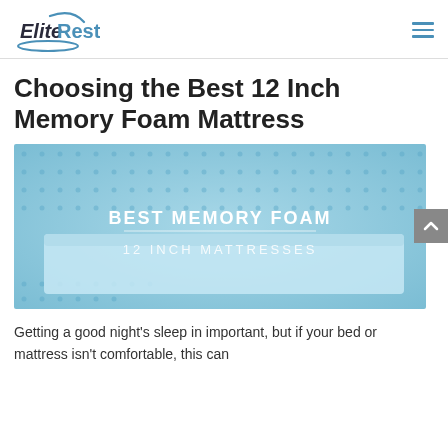EliteRest
Choosing the Best 12 Inch Memory Foam Mattress
[Figure (photo): Hero image of a light blue memory foam mattress with text overlay reading 'BEST MEMORY FOAM 12 INCH MATTRESSES']
Getting a good night's sleep in important, but if your bed or mattress isn't comfortable, this can